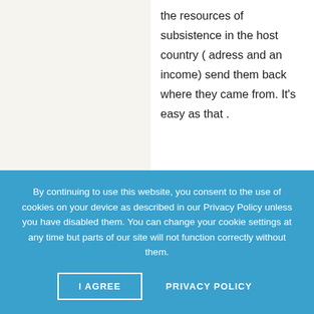the resources of subsistence in the host country ( adress and an income) send them back where they came from. It's easy as that .
➜  Write a reply
Gabriel • October 11th, 2015 •
Nothing of that is easy. How will we tell one from another? European nations should defend their borders even if at the cost of human lives if that's the only way.
By continuing to use this website, you consent to the use of cookies on your device as described in our Privacy Policy unless you have disabled them. You can change your cookie settings at any time but parts of our site will not function correctly without them.
I AGREE
PRIVACY POLICY